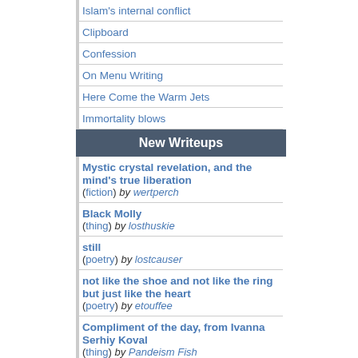Islam's internal conflict
Clipboard
Confession
On Menu Writing
Here Come the Warm Jets
Immortality blows
New Writeups
Mystic crystal revelation, and the mind's true liberation (fiction) by wertperch
Black Molly (thing) by losthuskie
still (poetry) by lostcauser
not like the shoe and not like the ring but just like the heart (poetry) by etouffee
Compliment of the day, from Ivanna Serhiy Koval (thing) by Pandeism Fish
Pecan Pralines (recipe) by lostcauser
August 29, 2022 (event) by JD
root log: August 2022 (log) by jaybonci
There is no glass.